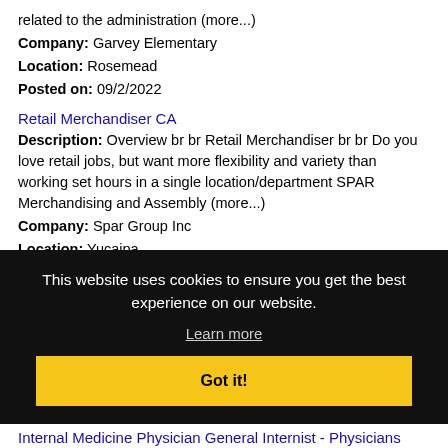related to the administration (more...)
Company: Garvey Elementary
Location: Rosemead
Posted on: 09/2/2022
Retail Merchandiser CA
Description: Overview br br Retail Merchandiser br br Do you love retail jobs, but want more flexibility and variety than working set hours in a single location/department SPAR Merchandising and Assembly (more...)
Company: Spar Group Inc
Location: Yucaipa
This website uses cookies to ensure you get the best experience on our website.
Learn more
Got it!
2021. preferred
Internal Medicine Physician General Internist - Physicians